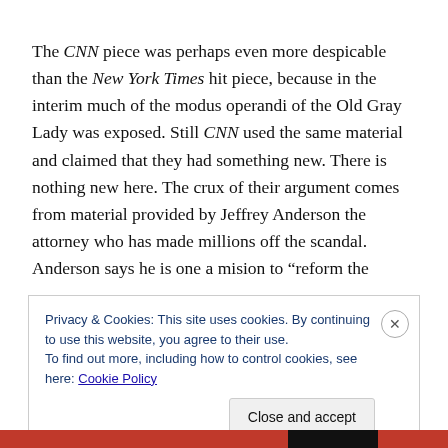The CNN piece was perhaps even more despicable than the New York Times hit piece, because in the interim much of the modus operandi of the Old Gray Lady was exposed. Still CNN used the same material and claimed that they had something new. There is nothing new here. The crux of their argument comes from material provided by Jeffrey Anderson the attorney who has made millions off the scandal. Anderson says he is one a mision to “reform the
Privacy & Cookies: This site uses cookies. By continuing to use this website, you agree to their use.
To find out more, including how to control cookies, see here: Cookie Policy
Close and accept